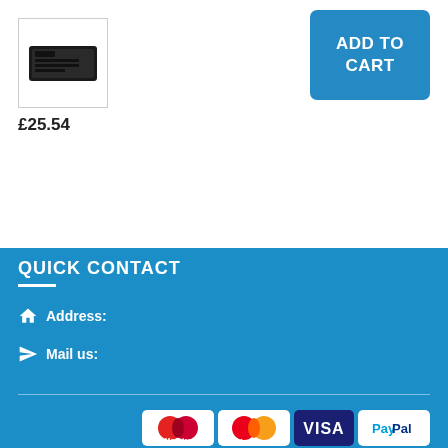[Figure (photo): Product thumbnail image of a dark/black flat rectangular object]
£25.54
ADD TO CART
QUICK CONTACT
Address:
Mail us:
[Figure (illustration): Payment method icons: Maestro, MasterCard, VISA, PayPal]